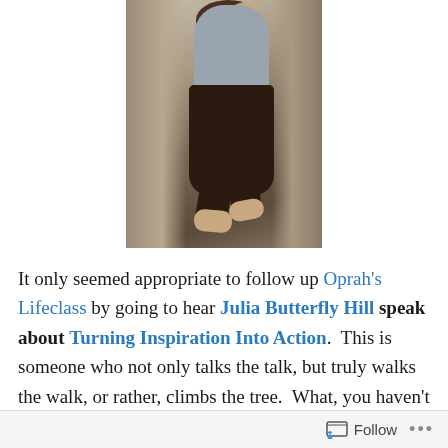[Figure (photo): A woman sitting barefoot in a tree, wearing a gray long-sleeve shirt and dark pants, with one hand raised against the tree trunk.]
It only seemed appropriate to follow up Oprah's Lifeclass by going to hear Julia Butterfly Hill speak about Turning Inspiration Into Action.  This is someone who not only talks the talk, but truly walks the walk, or rather, climbs the tree.  What, you haven't heard of her?  Yes, you have – you